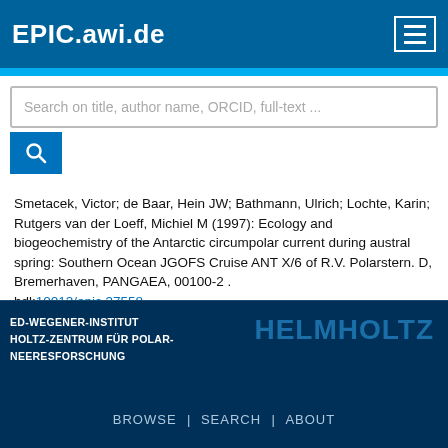EPIC.awi.de
Search on title, author name, ORCID, full-text ...
Smetacek, Victor; de Baar, Hein JW; Bathmann, Ulrich; Lochte, Karin; Rutgers van der Loeff, Michiel M (1997): Ecology and biogeochemistry of the Antarctic circumpolar current during austral spring: Southern Ocean JGOFS Cruise ANT X/6 of R.V. Polarstern. D, Bremerhaven, PANGAEA, 00100-2 . hdl:10013/epic.37558
This list was generated on Fri Aug 19 20:30:41 2022 CEST.
ED-WEGENER-INSTITUT HOLTZ-ZENTRUM FÜR POLAR- NEERESFORSCHUNG   HELMHOLTZ   BROWSE | SEARCH | ABOUT